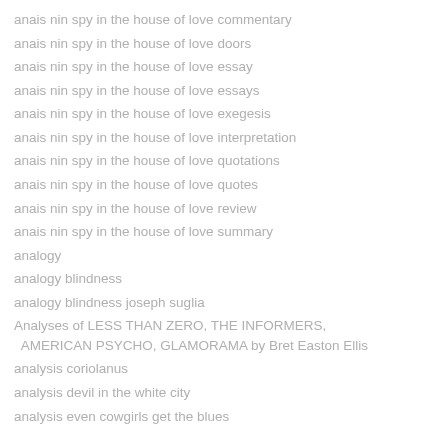anais nin spy in the house of love commentary
anais nin spy in the house of love doors
anais nin spy in the house of love essay
anais nin spy in the house of love essays
anais nin spy in the house of love exegesis
anais nin spy in the house of love interpretation
anais nin spy in the house of love quotations
anais nin spy in the house of love quotes
anais nin spy in the house of love review
anais nin spy in the house of love summary
analogy
analogy blindness
analogy blindness joseph suglia
Analyses of LESS THAN ZERO, THE INFORMERS, AMERICAN PSYCHO, GLAMORAMA by Bret Easton Ellis
analysis coriolanus
analysis devil in the white city
analysis even cowgirls get the blues